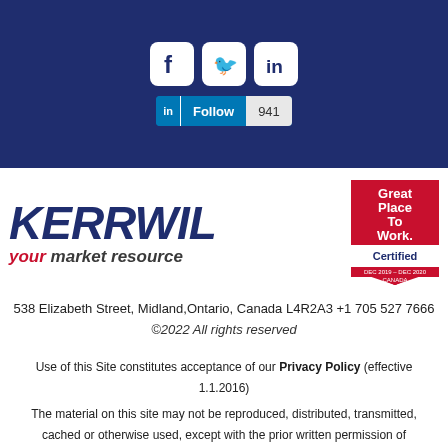[Figure (infographic): Dark navy blue banner with social media icons (Facebook, Twitter, LinkedIn) and a LinkedIn Follow button showing 941 followers]
[Figure (logo): Kerrwil logo with tagline 'your market resource' and Great Place To Work Certified badge (DEC 2019 - DEC 2020, Canada)]
538 Elizabeth Street, Midland,Ontario, Canada L4R2A3 +1 705 527 7666
©2022 All rights reserved
Use of this Site constitutes acceptance of our Privacy Policy (effective 1.1.2016)
The material on this site may not be reproduced, distributed, transmitted, cached or otherwise used, except with the prior written permission of Kerrwil